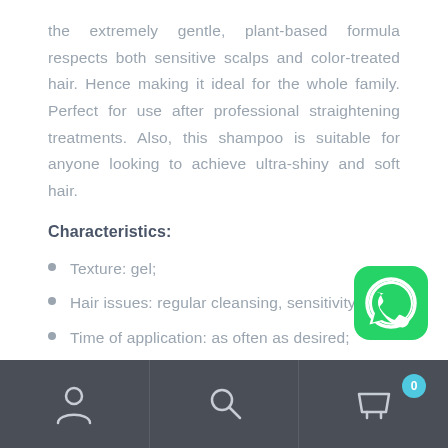the extremely gentle, plant-based formula respects both sensitive scalps and color-treated hair. Hence making it ideal for the whole family. Perfect for use after professional straightening treatments. Also, this shampoo is suitable for anyone looking to achieve ultra-shiny and soft hair.
Characteristics:
Texture: gel;
Hair issues: regular cleansing, sensitivity;
Time of application: as often as desired;
[Figure (logo): WhatsApp icon button — green rounded square with white phone handset in speech bubble]
Bottom navigation bar with user icon, search icon, and shopping cart icon with badge showing 0